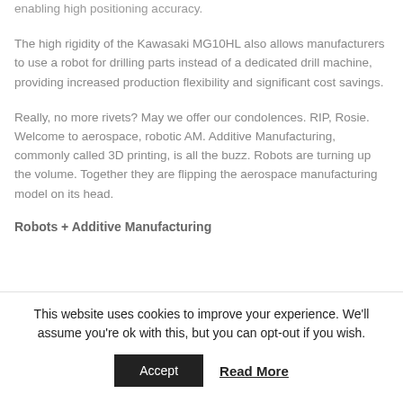enabling high positioning accuracy.
The high rigidity of the Kawasaki MG10HL also allows manufacturers to use a robot for drilling parts instead of a dedicated drill machine, providing increased production flexibility and significant cost savings.
Really, no more rivets? May we offer our condolences. RIP, Rosie. Welcome to aerospace, robotic AM. Additive Manufacturing, commonly called 3D printing, is all the buzz. Robots are turning up the volume. Together they are flipping the aerospace manufacturing model on its head.
Robots + Additive Manufacturing
This website uses cookies to improve your experience. We'll assume you're ok with this, but you can opt-out if you wish.